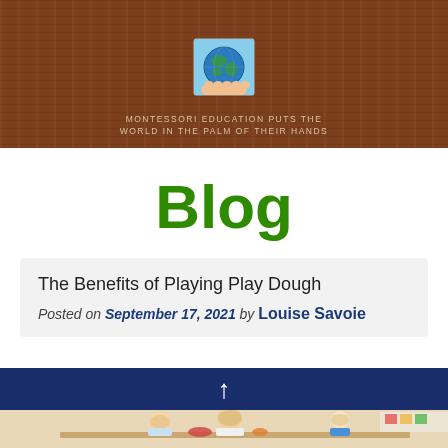[Figure (photo): Brown wood-textured header banner with a Montessori school logo (child hands holding a globe) and tagline text below]
MONTESSORI EDUCATION PUTS THE WORLD IN THE PALM OF THEIR HANDS
Blog
The Benefits of Playing Play Dough
Posted on September 17, 2021 by Louise Savoie
[Figure (photo): Children playing with play dough at a table in a Montessori classroom setting]